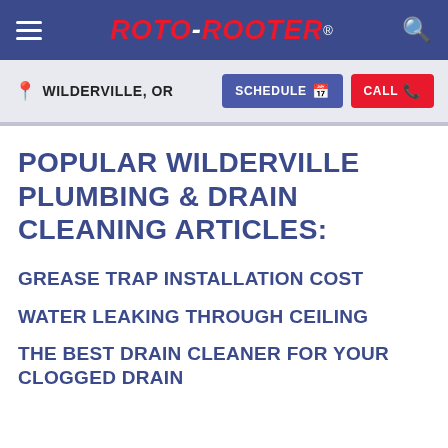ROTO-ROOTER®
WILDERVILLE, OR
SCHEDULE | CALL
POPULAR WILDERVILLE PLUMBING & DRAIN CLEANING ARTICLES:
GREASE TRAP INSTALLATION COST
WATER LEAKING THROUGH CEILING
THE BEST DRAIN CLEANER FOR YOUR CLOGGED DRAIN